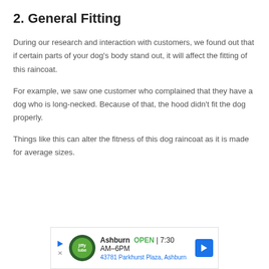2. General Fitting
During our research and interaction with customers, we found out that if certain parts of your dog’s body stand out, it will affect the fitting of this raincoat.
For example, we saw one customer who complained that they have a dog who is long-necked. Because of that, the hood didn’t fit the dog properly.
Things like this can alter the fitness of this dog raincoat as it is made for average sizes.
[Figure (other): Advertisement banner for Jiffy Lube Ashburn location showing logo, open status (7:30AM-6PM), and address at 43781 Parkhurst Plaza, Ashburn]